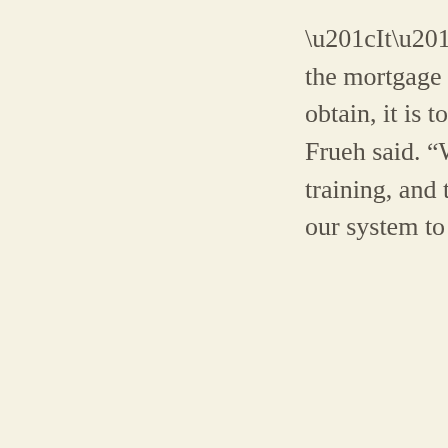“It’s the misconception that the mortgage takes too much time to obtain, it is too cumbersome, it is hard,” Frueh said. “We can counter that through training, and through constantly handling our system to really make it better.”
To that particular end, let’s have a look at four pervasive VA loan fables that will keep veterans from checking out their hard-earned